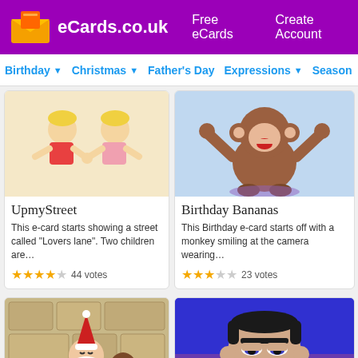eCards.co.uk  Free eCards  Create Account
Birthday  Christmas  Father's Day  Expressions  Season
[Figure (screenshot): UpmyStreet ecard thumbnail showing two cartoon children holding hands on a street]
UpmyStreet
This e-card starts showing a street called "Lovers lane". Two children are…
44 votes
[Figure (screenshot): Birthday Bananas ecard thumbnail showing a cartoon monkey with arms raised]
Birthday Bananas
This Birthday e-card starts off with a monkey smiling at the camera wearing…
23 votes
[Figure (screenshot): Late Santa ecard thumbnail showing cartoon Santa sitting by a fireplace]
Late Santa
[Figure (screenshot): Give U A Hug ecard thumbnail showing a cartoon man with goatee beard]
Give U A Hug